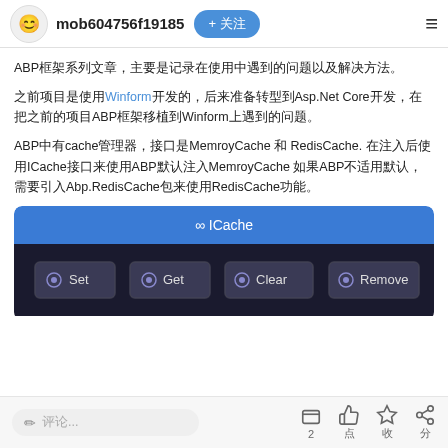mob604756f19185 + 关注
ABP框架系列文章，主要是记录在使用中遇到的问题以及解决方法。
之前项目是使用Winform开发的，后来准备转型到Asp.Net Core开发，在把之前的项目ABP框架移植到Winform上遇到的问题。
ABP中有cache管理器，接口是MemroyCache 和 RedisCache.  在注入后使用ICache接口来使用ABP默认注入MemroyCache 如果ABP不适用默认，需要引入Abp.RedisCache包来使用RedisCache功能。
[Figure (screenshot): ICache interface diagram showing Set, Get, Clear, Remove buttons on dark background with blue header]
✏ 评论... | 2 评论 | 点赞 | 收藏 | 分享